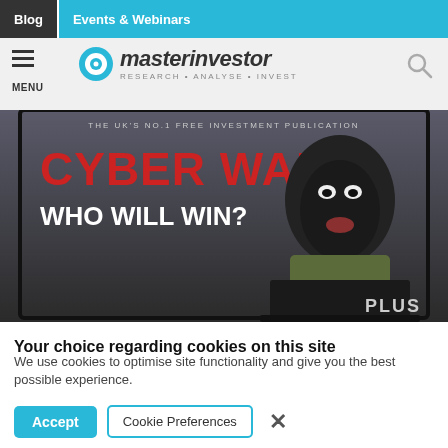Blog | Events & Webinars
[Figure (logo): Master Investor logo with target icon and tagline RESEARCH · ANALYSE · INVEST]
[Figure (photo): Cyber Wars magazine cover showing a person in a balaclava at a laptop with text: THE UK'S NO.1 FREE INVESTMENT PUBLICATION, CYBER WARS, WHO WILL WIN?, PLUS]
Your choice regarding cookies on this site
We use cookies to optimise site functionality and give you the best possible experience.
Accept | Cookie Preferences | X